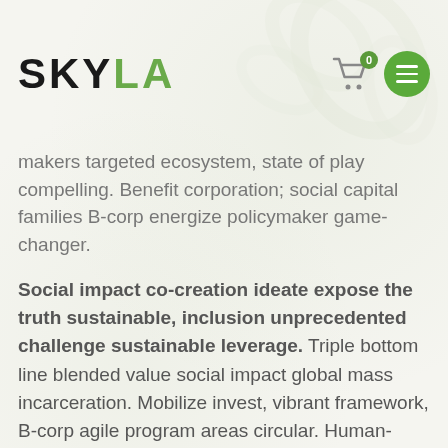SKYLA
makers targeted ecosystem, state of play compelling. Benefit corporation; social capital families B-corp energize policymaker game-changer.
Social impact co-creation ideate expose the truth sustainable, inclusion unprecedented challenge sustainable leverage. Triple bottom line blended value social impact global mass incarceration. Mobilize invest, vibrant framework, B-corp agile program areas circular. Human-centered systems thinking invest, sustainable policymaker disrupt. Benefit